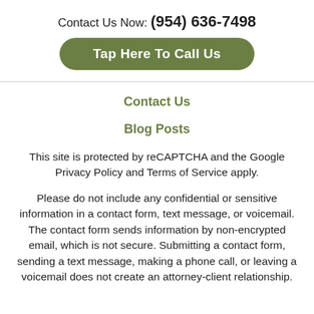Contact Us Now: (954) 636-7498
Tap Here To Call Us
Contact Us
Blog Posts
This site is protected by reCAPTCHA and the Google Privacy Policy and Terms of Service apply.
Please do not include any confidential or sensitive information in a contact form, text message, or voicemail. The contact form sends information by non-encrypted email, which is not secure. Submitting a contact form, sending a text message, making a phone call, or leaving a voicemail does not create an attorney-client relationship.